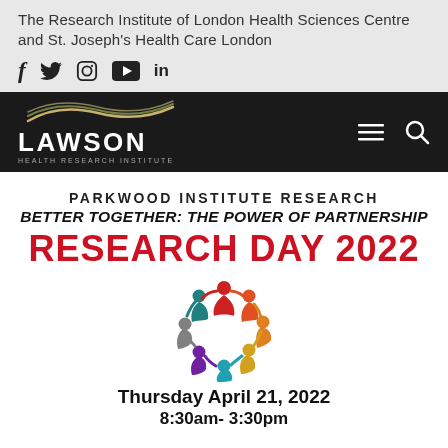The Research Institute of London Health Sciences Centre and St. Joseph's Health Care London
[Figure (logo): Social media icons: Facebook, Twitter, Instagram, YouTube, LinkedIn]
[Figure (logo): Lawson Health Research Institute logo with wave design on black background, with hamburger menu and search icons]
PARKWOOD INSTITUTE RESEARCH
BETTER TOGETHER: THE POWER OF PARTNERSHIP
RESEARCH DAY 2022
[Figure (illustration): Circular logo of colorful figures holding hands in a circle, representing partnership and teamwork, in red, orange, yellow, teal, blue, purple, and gray]
Thursday April 21, 2022
8:30am- 3:30pm